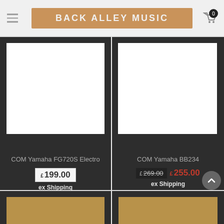BACK ALLEY MUSIC
COM Yamaha FG720S Electro
£199.00 ex Shipping
COM Yamaha BB234
£269.00 £255.00 ex Shipping